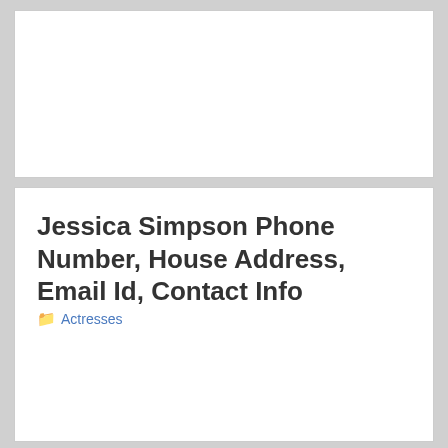Jessica Simpson Phone Number, House Address, Email Id, Contact Info
Actresses